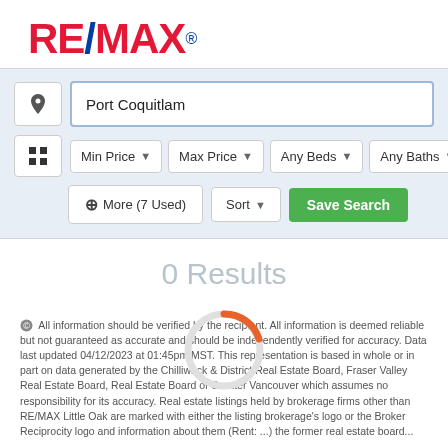[Figure (logo): RE/MAX logo in red and blue]
[Figure (screenshot): Search interface with location input 'Port Coquitlam', filter dropdowns for Min Price, Max Price, Any Beds, Any Baths, More (7 Used), Sort, and Save Search button]
0 Results
All information should be verified by the recipient. All information is deemed reliable but not guaranteed as accurate and should be independently verified for accuracy. Data last updated 04/12/2023 at 01:45pm MST. This representation is based in whole or in part on data generated by the Chilliwack & District Real Estate Board, Fraser Valley Real Estate Board, Real Estate Board of Greater Vancouver which assumes no responsibility for its accuracy. Real estate listings held by brokerage firms other than RE/MAX Little Oak are marked with either the listing brokerage's logo or the Broker Reciprocity logo and information about them (Rent: ...) the former Real Estate board...
[Figure (other): Circular loading spinner with orange arc at top]